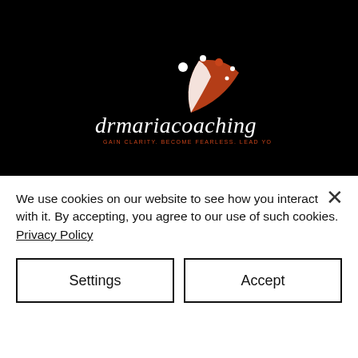[Figure (logo): drmariacoaching logo with swoosh/sailboat graphic in orange and white dots on black background, tagline: GAIN CLARITY. BECOME FEARLESS. LEAD YOUR LIFE]
[Figure (logo): LinkedIn circular blue icon with white 'in' text]
some ife but :areer!
Using my experience of working in a variety of industries as well as working with several professionals, I can help you to find your zone of genius and build a solid and clear
We use cookies on our website to see how you interact with it. By accepting, you agree to our use of such cookies. Privacy Policy
Settings
Accept